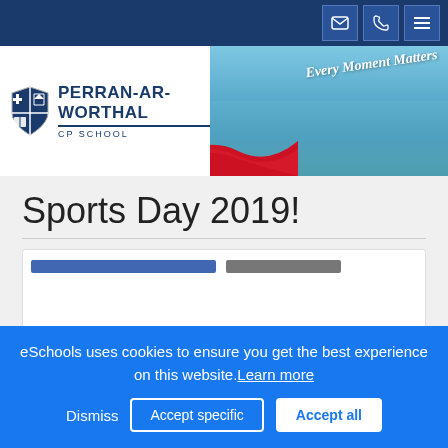Perran-ar-Worthal CP School — Every Moment Matters
Sports Day 2019!
[Figure (screenshot): Embedded social media widget (Facebook) with blue and grey loading bars]
eSchools uses cookies to ensure you get the best experience on this website. Learn more
Dismiss | Accept specific | Accept all